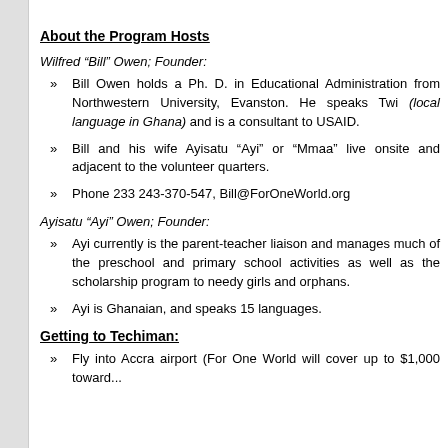About the Program Hosts
Wilfred “Bill” Owen; Founder:
Bill Owen holds a Ph. D. in Educational Administration from Northwestern University, Evanston. He speaks Twi (local language in Ghana) and is a consultant to USAID.
Bill and his wife Ayisatu “Ayi” or “Mmaa” live onsite and adjacent to the volunteer quarters.
Phone 233 243-370-547, Bill@ForOneWorld.org
Ayisatu “Ayi” Owen; Founder:
Ayi currently is the parent-teacher liaison and manages much of the preschool and primary school activities as well as the scholarship program to needy girls and orphans.
Ayi is Ghanaian, and speaks 15 languages.
Getting to Techiman:
Fly into Accra airport (For One World will cover up to $1,000 toward...